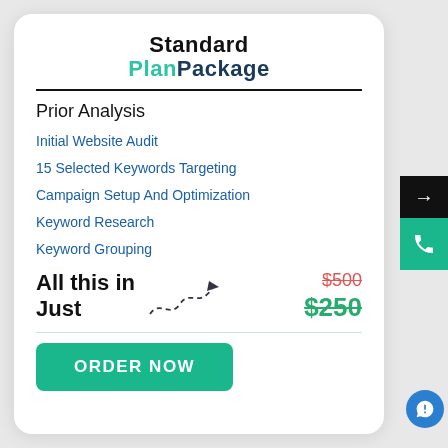Standard Plan Package
Prior Analysis
Initial Website Audit
15 Selected Keywords Targeting
Campaign Setup And Optimization
Keyword Research
Keyword Grouping
All this in Just
$500 $250